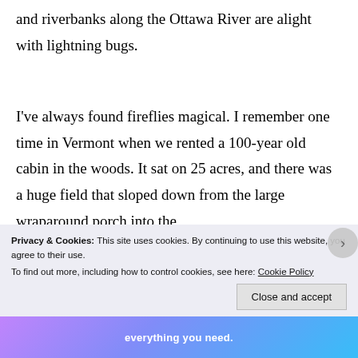and riverbanks along the Ottawa River are alight with lightning bugs.
I've always found fireflies magical. I remember one time in Vermont when we rented a 100-year old cabin in the woods. It sat on 25 acres, and there was a huge field that sloped down from the large wraparound porch into the
Privacy & Cookies: This site uses cookies. By continuing to use this website, you agree to their use.
To find out more, including how to control cookies, see here: Cookie Policy
Close and accept
everything you need.